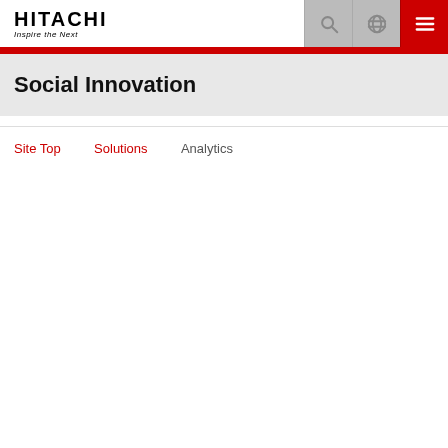HITACHI Inspire the Next
Social Innovation
Site Top  Solutions  Analytics